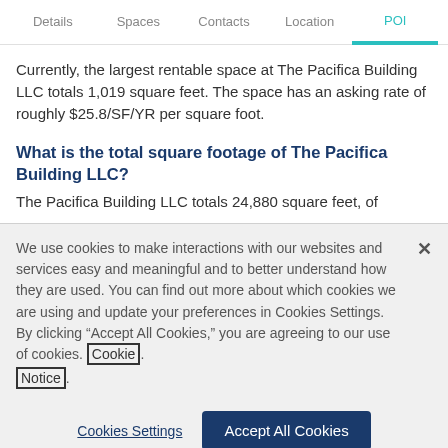Details | Spaces | Contacts | Location | POI
Currently, the largest rentable space at The Pacifica Building LLC totals 1,019 square feet. The space has an asking rate of roughly $25.8/SF/YR per square foot.
What is the total square footage of The Pacifica Building LLC?
The Pacifica Building LLC totals 24,880 square feet, of
We use cookies to make interactions with our websites and services easy and meaningful and to better understand how they are used. You can find out more about which cookies we are using and update your preferences in Cookies Settings. By clicking “Accept All Cookies,” you are agreeing to our use of cookies. Cookie Notice.
Cookies Settings | Accept All Cookies